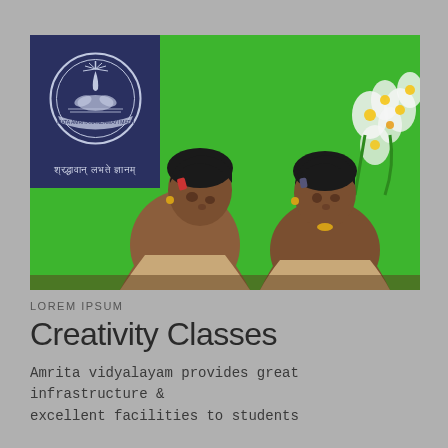[Figure (photo): Two young children (girls) sitting at a table in a classroom, looking down, with a bright green wall behind them and floral decorations. An institutional emblem/logo (Mata Amritanandamayi Math) overlays the top-left of the photo with Sanskrit text below it reading 'श्रद्धावान् लभते ज्ञानम्'.]
LOREM IPSUM
Creativity Classes
Amrita vidyalayam provides great infrastructure & excellent facilities to students